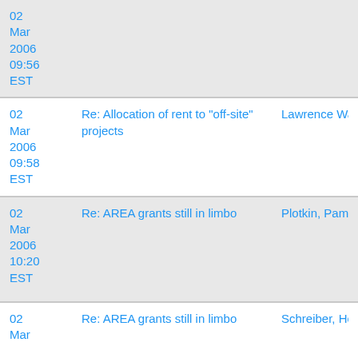| Date | Subject | From |
| --- | --- | --- |
| 02 Mar 2006 09:56 EST |  |  |
| 02 Mar 2006 09:58 EST | Re: Allocation of rent to "off-site" projects | Lawrence Waxler |
| 02 Mar 2006 10:20 EST | Re: AREA grants still in limbo | Plotkin, Pamela T |
| 02 Mar 2006 | Re: AREA grants still in limbo | Schreiber, Hollie |